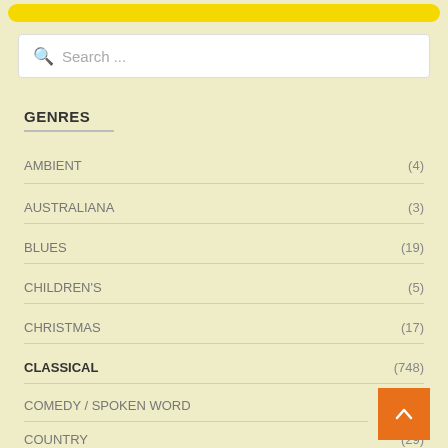[Figure (other): Yellow navigation bar at top]
[Figure (other): Search input box with magnifying glass icon and placeholder text]
GENRES
AMBIENT (4)
AUSTRALIANA (3)
BLUES (19)
CHILDREN'S (5)
CHRISTMAS (17)
CLASSICAL (748)
COMEDY / SPOKEN WORD
COUNTRY (29)